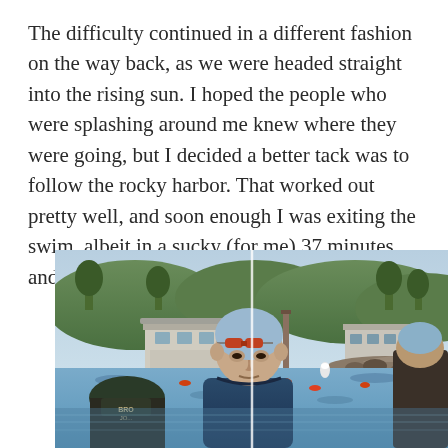The difficulty continued in a different fashion on the way back, as we were headed straight into the rising sun. I hoped the people who were splashing around me knew where they were going, but I decided a better tack was to follow the rocky harbor. That worked out pretty well, and soon enough I was exiting the swim, albeit in a sucky (for me) 37 minutes and change.
[Figure (photo): Outdoor photo of swimmers exiting open water near a rocky harbor, with a person in a blue wetsuit and swim goggles on their head in the foreground, a marina and buildings visible in the background, and other swimmers visible in the water.]